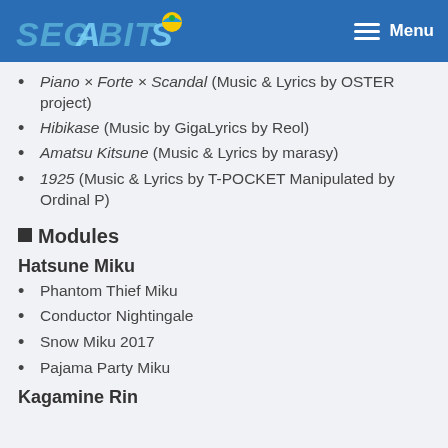SEGABITS — Menu
Piano × Forte × Scandal (Music & Lyrics by OSTER project)
Hibikase (Music by GigaLyrics by Reol)
Amatsu Kitsune (Music & Lyrics by marasy)
1925 (Music & Lyrics by T-POCKET Manipulated by Ordinal P)
■Modules
Hatsune Miku
Phantom Thief Miku
Conductor Nightingale
Snow Miku 2017
Pajama Party Miku
Kagamine Rin